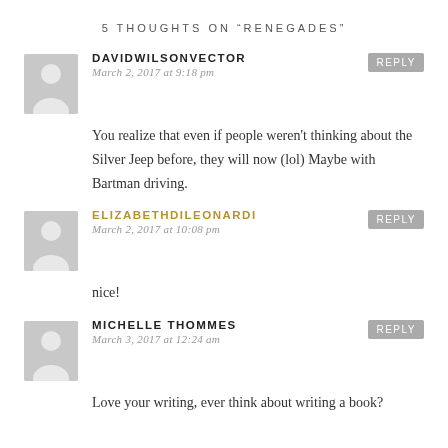5 THOUGHTS ON "RENEGADES"
DAVIDWILSONVECTOR
March 2, 2017 at 9:18 pm
You realize that even if people weren't thinking about the Silver Jeep before, they will now (lol) Maybe with Bartman driving.
ELIZABETHDILEONARDI
March 2, 2017 at 10:08 pm
nice!
MICHELLE THOMMES
March 3, 2017 at 12:24 am
Love your writing, ever think about writing a book?